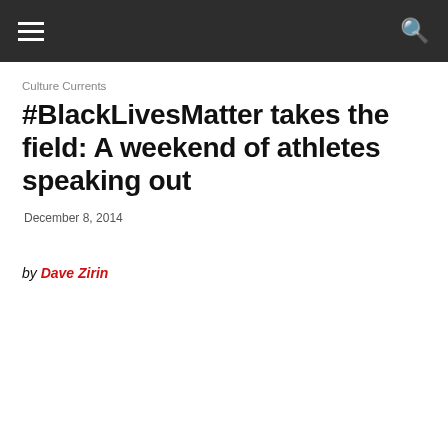Culture Currents
#BlackLivesMatter takes the field: A weekend of athletes speaking out
December 8, 2014
by Dave Zirin